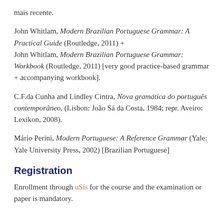mais recente.
John Whitlam, Modern Brazilian Portuguese Grammar: A Practical Guide (Routledge, 2011) + John Whitlam, Modern Brazilian Portuguese Grammar: Workbook (Routledge, 2011) [very good practice-based grammar + accompanying workbook].
C.F.da Cunha and Lindley Cintra, Nova gramática do português contemporâneo, (Lisbon: João Sá da Costa, 1984; repr. Aveiro: Lexikon, 2008).
Mário Perini, Modern Portuguese: A Reference Grammar (Yale: Yale University Press, 2002) [Brazilian Portuguese]
Registration
Enrollment through uSis for the course and the examination or paper is mandatory.